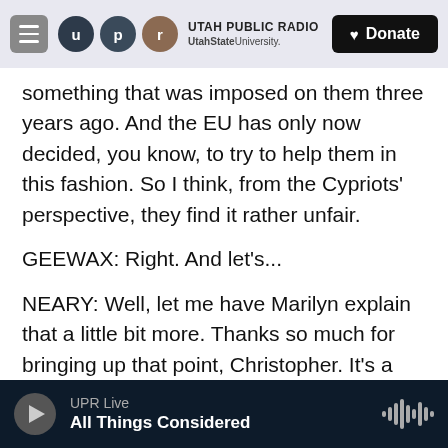UTAH PUBLIC RADIO | UtahState University | Donate
something that was imposed on them three years ago. And the EU has only now decided, you know, to try to help them in this fashion. So I think, from the Cypriots' perspective, they find it rather unfair.
GEEWAX: Right. And let's...
NEARY: Well, let me have Marilyn explain that a little bit more. Thanks so much for bringing up that point, Christopher. It's a good one.
CHRISTOPHER: Yes, thank you.
GEEWAX: Well, that's true, that, you know, these
UPR Live | All Things Considered